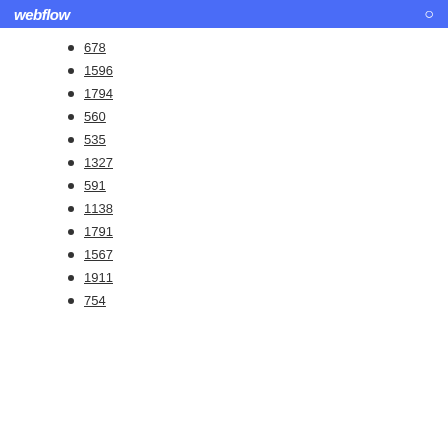webflow
678
1596
1794
560
535
1327
591
1138
1791
1567
1911
754